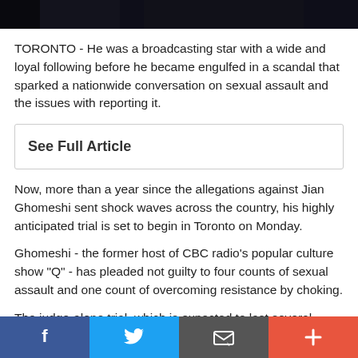[Figure (photo): Dark photo strip at top of article page showing partial image of person(s)]
TORONTO - He was a broadcasting star with a wide and loyal following before he became engulfed in a scandal that sparked a nationwide conversation on sexual assault and the issues with reporting it.
See Full Article
Now, more than a year since the allegations against Jian Ghomeshi sent shock waves across the country, his highly anticipated trial is set to begin in Toronto on Monday.
Ghomeshi - the former host of CBC radio's popular culture show "Q" - has pleaded not guilty to four counts of sexual assault and one count of overcoming resistance by choking.
The judge-alone trial, which is expected to last several weeks, involves three complainants and will be closely watched by
[Figure (infographic): Bottom navigation bar with four buttons: Facebook (blue), Twitter (light blue), email/share (grey), and plus/more (orange-red)]